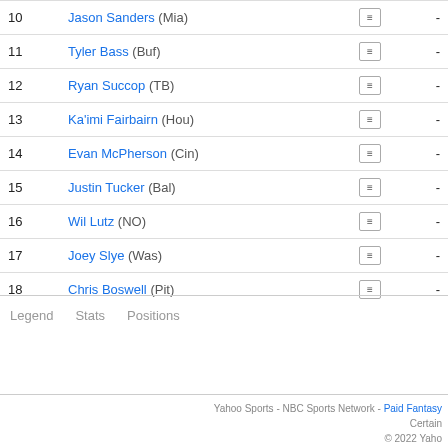| Rank | Player | Icon | Score |
| --- | --- | --- | --- |
| 10 | Jason Sanders (Mia) |  | - |
| 11 | Tyler Bass (Buf) |  | - |
| 12 | Ryan Succop (TB) |  | - |
| 13 | Ka'imi Fairbairn (Hou) |  | - |
| 14 | Evan McPherson (Cin) |  | - |
| 15 | Justin Tucker (Bal) |  | - |
| 16 | Wil Lutz (NO) |  | - |
| 17 | Joey Slye (Was) |  | - |
| 18 | Chris Boswell (Pit) |  | - |
Legend
Stats
Positions
Yahoo Sports - NBC Sports Network - Paid Fantasy  Certain  © 2022 Yaho